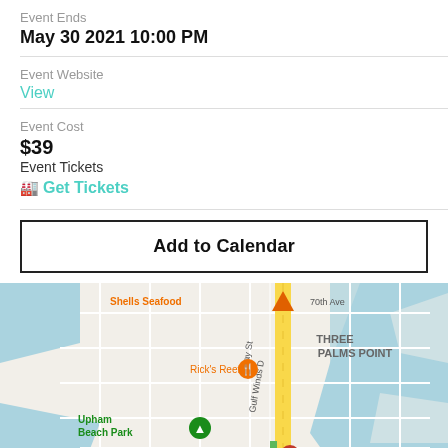Event Ends
May 30 2021 10:00 PM
Event Website
View
Event Cost
$39
Event Tickets
Get Tickets
Add to Calendar
[Figure (map): Google Maps screenshot showing area near Gulf Winds Dr, with markers for Rick's Reef, Upham Beach Park, Postcard Inn, and THREE PALMS POINT label. Orange triangle marker at top, orange restaurant marker for Rick's Reef, green pin for Upham Beach Park, red pin at bottom for Postcard Inn.]